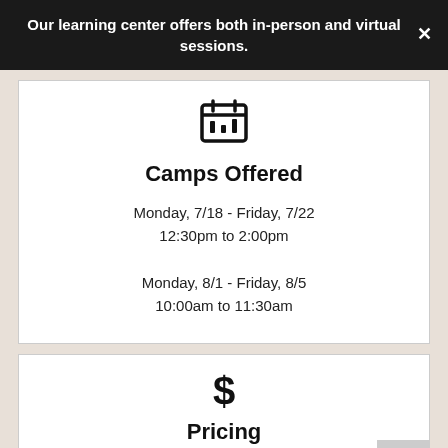Our learning center offers both in-person and virtual sessions.
[Figure (illustration): Calendar/checklist icon]
Camps Offered
Monday, 7/18 - Friday, 7/22
12:30pm to 2:00pm

Monday, 8/1 - Friday, 8/5
10:00am to 11:30am
[Figure (illustration): Dollar sign icon]
Pricing
Mix and match our targeted Academic Camps to